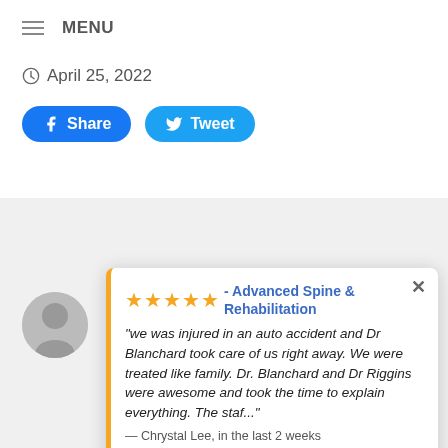≡ MENU
April 25, 2022
Share  Tweet
[Figure (screenshot): Partial view of a doctor profile page showing 'Dr. Russell' with an avatar photo stub, gray background]
★★★★★ - Advanced Spine & Rehabilitation
"we was injured in an auto accident and Dr Blanchard took care of us right away. We were treated like family. Dr. Blanchard and Dr Riggins were awesome and took the time to explain everything. The staf..."
— Chrystal Lee, in the last 2 weeks
⚡ by Review Wave